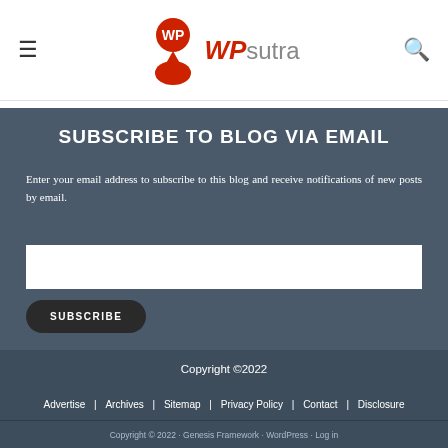WPsutra
SUBSCRIBE TO BLOG VIA EMAIL
Enter your email address to subscribe to this blog and receive notifications of new posts by email.
Copyright ©2022
Advertise | Archives | Sitemap | Privacy Policy | Contact | Disclosure
Copyright © 2022 · Genesis Framework · WordPress · Log in